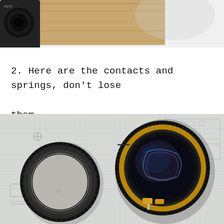[Figure (photo): Top portion of a photo showing camera lens parts on a wooden surface, partially cropped]
2. Here are the contacts and springs, don't lose them.
[Figure (photo): Disassembled camera lens showing a black lens ring on the left and the main lens body with gold contacts on the right, both resting on a technical blueprint/schematic paper]